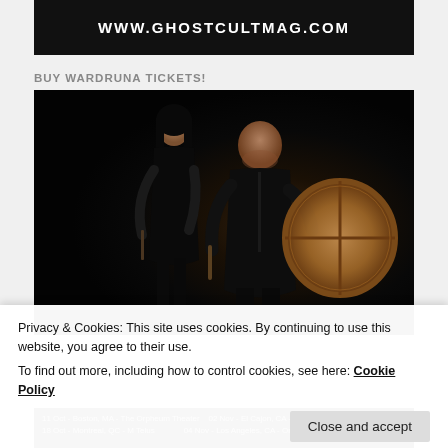[Figure (logo): Ghost Cult Magazine banner with website URL WWW.GHOSTCULTMAG.COM on black background]
BUY WARDRUNA TICKETS!
[Figure (photo): Two musicians in black clothing against a dark background. A woman stands on the left and a man holds a large frame drum on the right.]
Privacy & Cookies: This site uses cookies. By continuing to use this website, you agree to their use.
To find out more, including how to control cookies, see here: Cookie Policy
[Figure (other): Tour dates banner showing dates including 11 Oct, 18 Oct Montreal QC M Telus, 02 Nov El Cajon CA Magnolia, 04 Nov Los Angeles CA Orpheum Theatre]